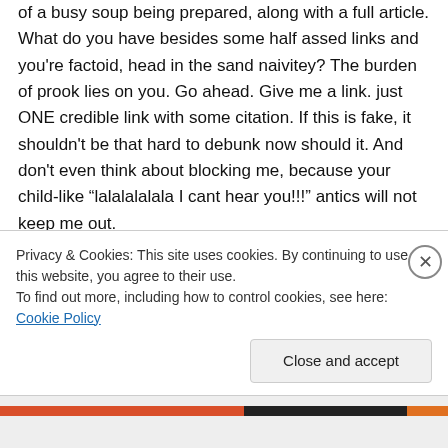of a busy soup being prepared, along with a full article. What do you have besides some half assed links and you're factoid, head in the sand naivitey? The burden of prook lies on you. Go ahead. Give me a link. just ONE credible link with some citation. If this is fake, it shouldn't be that hard to debunk now should it. And don't even think about blocking me, because your child-like “lalalalalala I cant hear you!!!” antics will not keep me out.
[EM. you dropshit knuckle-dragging dribblejaws.
Privacy & Cookies: This site uses cookies. By continuing to use this website, you agree to their use.
To find out more, including how to control cookies, see here: Cookie Policy